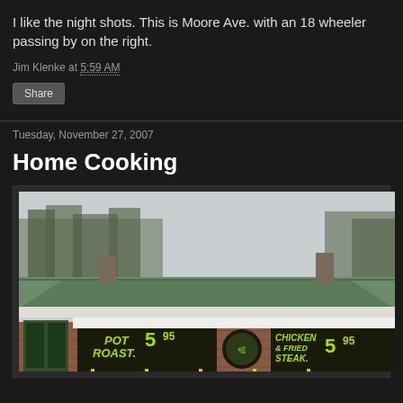I like the night shots. This is Moore Ave. with an 18 wheeler passing by on the right.
Jim Klenke at 5:59 AM
Share
Tuesday, November 27, 2007
Home Cooking
[Figure (photo): Exterior photo of a restaurant building with green metal roof, brick facade, and signs reading POT ROAST 5.95 and CHICKEN FRIED STEAK 5.95]